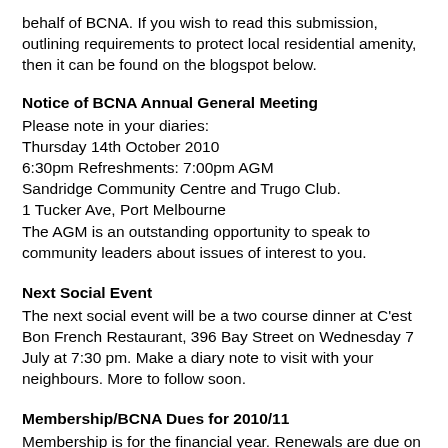behalf of BCNA. If you wish to read this submission, outlining requirements to protect local residential amenity, then it can be found on the blogspot below.
Notice of BCNA Annual General Meeting
Please note in your diaries:
Thursday 14th October 2010
6:30pm Refreshments: 7:00pm AGM
Sandridge Community Centre and Trugo Club.
1 Tucker Ave, Port Melbourne
The AGM is an outstanding opportunity to speak to community leaders about issues of interest to you.
Next Social Event
The next social event will be a two course dinner at C'est Bon French Restaurant, 396 Bay Street on Wednesday 7 July at 7:30 pm. Make a diary note to visit with your neighbours. More to follow soon.
Membership/BCNA Dues for 2010/11
Membership is for the financial year. Renewals are due on or before 1 July 2010. The higher the membership numbers the